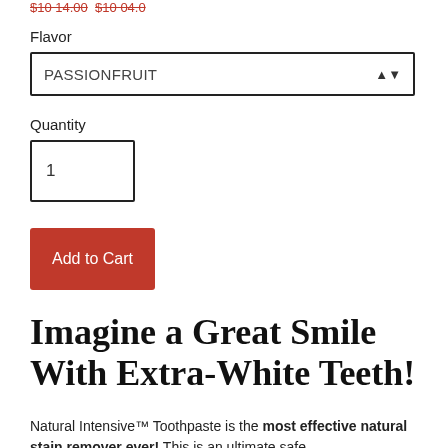$10 14.00  $10 04.0
Flavor
[Figure (screenshot): Dropdown select box showing PASSIONFRUIT with up/down arrow]
Quantity
[Figure (screenshot): Input box showing quantity value of 1]
[Figure (screenshot): Red Add to Cart button]
Imagine a Great Smile With Extra-White Teeth!
Natural Intensive™ Toothpaste is the most effective natural stain remover ever! This is an ultimate safe